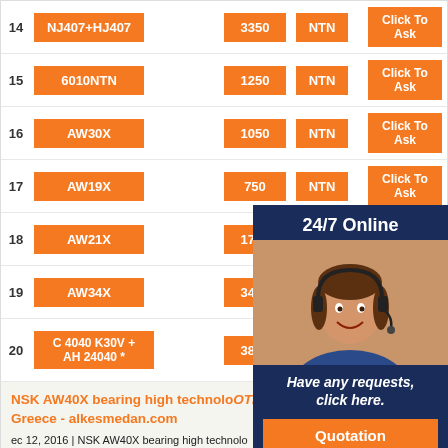| # | Part Number | Qty | Brand |  | Action |
| --- | --- | --- | --- | --- | --- |
| 14 | NJ407+HJ407 | 3350 | NTN |  | Click To Ask |
| 15 | 6010NTN | 1250 | NTN |  | Click To Ask |
| 16 | AW30X | 1050 | NTN |  | Click To Ask |
| 17 | AW19X | 750 | NTN |  | Click To Ask |
| 18 | AW21X | 1700 | NTN |  | Click To Ask |
| 19 | AW34X | 3450 |  |  | Click To Ask |
| 20 | C 4040 K30V + AH 24040 * | 3800 |  |  | Click To Ask |
[Figure (illustration): Customer service chat overlay with a woman wearing a headset, '24/7 Online' header, 'Have any requests, click here.' message, and Quotation button]
NSK AW40X bearing high technology in Greece - alkesmedan.com
ec 12, 2016 | NSK AW40X bearing high technology in Greece is provided with the NSK AW40X bearing high technology in Greece, NSK AW40X bearing high technology in Greece has the most complete product outline in rolling bearing industry .NSK AW40X bearing high technology in Greece provide customers with a series of comprehensive and perfect service and